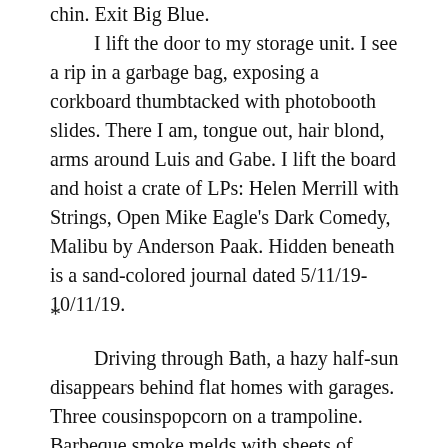chin. Exit Big Blue.

	I lift the door to my storage unit. I see a rip in a garbage bag, exposing a corkboard thumbtacked with photobooth slides. There I am, tongue out, hair blond, arms around Luis and Gabe. I lift the board and hoist a crate of LPs: Helen Merrill with Strings, Open Mike Eagle's Dark Comedy, Malibu by Anderson Paak. Hidden beneath is a sand-colored journal dated 5/11/19-10/11/19.
*
Driving through Bath, a hazy half-sun disappears behind flat homes with garages. Three cousinspopcorn on a trampoline. Barbeque smoke melds with sheets of